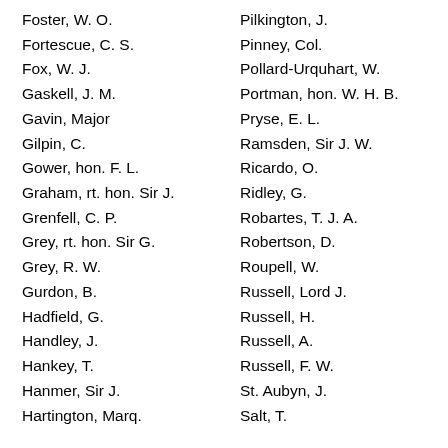Foster, W. O.
Fortescue, C. S.
Fox, W. J.
Gaskell, J. M.
Gavin, Major
Gilpin, C.
Gower, hon. F. L.
Graham, rt. hon. Sir J.
Grenfell, C. P.
Grey, rt. hon. Sir G.
Grey, R. W.
Gurdon, B.
Hadfield, G.
Handley, J.
Hankey, T.
Hanmer, Sir J.
Hartington, Marq.
Pilkington, J.
Pinney, Col.
Pollard-Urquhart, W.
Portman, hon. W. H. B.
Pryse, E. L.
Ramsden, Sir J. W.
Ricardo, O.
Ridley, G.
Robartes, T. J. A.
Robertson, D.
Roupell, W.
Russell, Lord J.
Russell, H.
Russell, A.
Russell, F. W.
St. Aubyn, J.
Salt, T.